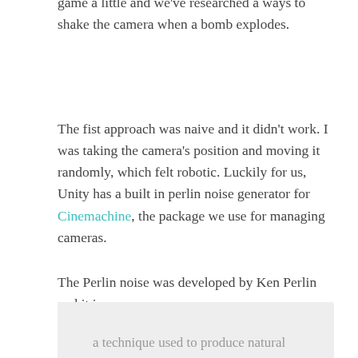game a little and we've researched a ways to shake the camera when a bomb explodes.
The fist approach was naive and it didn't work. I was taking the camera's position and moving it randomly, which felt robotic. Luckily for us, Unity has a built in perlin noise generator for Cinemachine, the package we use for managing cameras.
The Perlin noise was developed by Ken Perlin and it is:
a technique used to produce natural appearing textures on computer generated surfaces for motion picture visual effects.